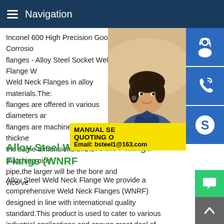Navigation
Inconel 600 High Precision Good Corrosio flanges - Alloy Steel Socket Weld Flange W Weld Neck Flanges in alloy materials.These flanges are offered in various diameters an flanges are machined with the wall thickne the same dimensions of the matching pipe pipe,the larger will be the bore and vice ve
[Figure (photo): Customer service representative woman with headset, smiling, with blue icon buttons on the right side (headset icon, phone icon, Skype icon) and a yellow overlay box with text: MANUAL SE, QUOTING O, Email: bsteel1@163.com]
Alloy Steel Weld Neck Flange Flange (WNRF
Alloy Steel Weld Neck Flange We provide a comprehensive Weld Neck Flanges (WNRF) designed in line with international quality standard.This product is used to cater to various industrial applications and ensure great deal of stability.Alloy Steel Slip Flanges - Nitech StainlessFlanges; All; 150 flange bolt chart; 3 150 slip on flange dimensions; 300 flange bolt chart; 304 SS